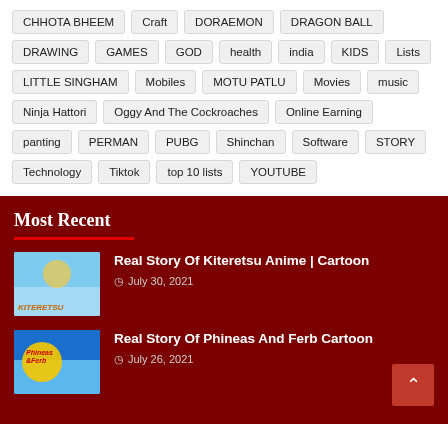CHHOTA BHEEM
Craft
DORAEMON
DRAGON BALL
DRAWING
GAMES
GOD
health
india
KIDS
Lists
LITTLE SINGHAM
Mobiles
MOTU PATLU
Movies
music
Ninja Hattori
Oggy And The Cockroaches
Online Earning
panting
PERMAN
PUBG
Shinchan
Software
STORY
Technology
Tiktok
top 10 lists
YOUTUBE
Most Recent
Real Story Of Kiteretsu Anime | Cartoon
July 30, 2021
Real Story Of Phineas And Ferb Cartoon
July 26, 2021